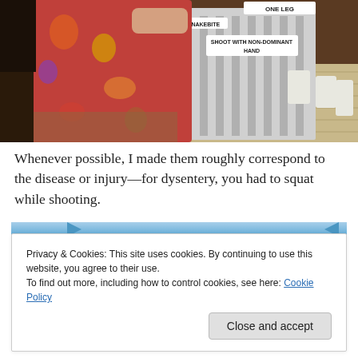[Figure (photo): A person in a colorful patterned dress holding a large board/target that has labels including 'SNAKEBITE', 'SHOOT WITH NON-DOMINANT HAND', and 'ONE LEG'. White cylindrical objects are visible in the background on a wooden floor.]
Whenever possible, I made them roughly correspond to the disease or injury—for dysentery, you had to squat while shooting.
Privacy & Cookies: This site uses cookies. By continuing to use this website, you agree to their use.
To find out more, including how to control cookies, see here: Cookie Policy